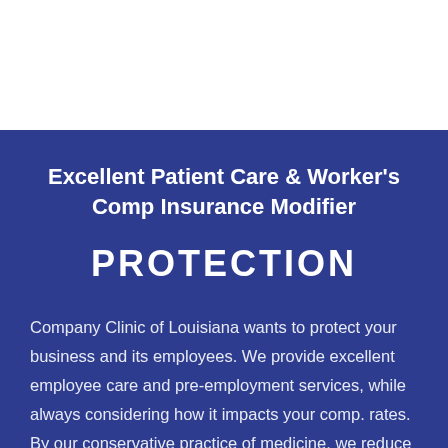Excellent Patient Care & Worker's Comp Insurance Modifier
PROTECTION
Company Clinic of Louisiana wants to protect your business and its employees. We provide excellent employee care and pre-employment services, while always considering how it impacts your comp. rates. By our conservative practice of medicine, we reduce the employer's exposure to medical accidents and recordable work-related injuries.